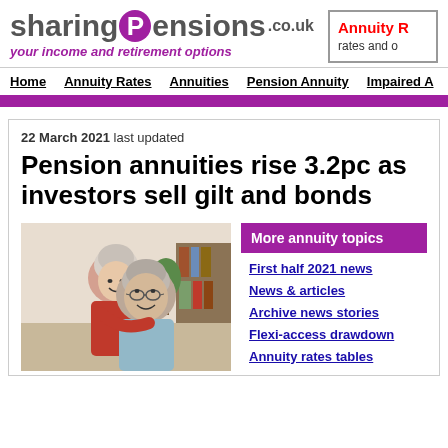sharingPensions.co.uk — your income and retirement options
[Figure (other): Annuity Rates box — rates and options advertisement]
Home | Annuity Rates | Annuities | Pension Annuity | Impaired A...
22 March 2021 last updated
Pension annuities rise 3.2pc as investors sell gilt and bonds
[Figure (photo): Elderly couple smiling together — woman in red top embracing older man with glasses]
More annuity topics
First half 2021 news
News & articles
Archive news stories
Flexi-access drawdown
Annuity rates tables